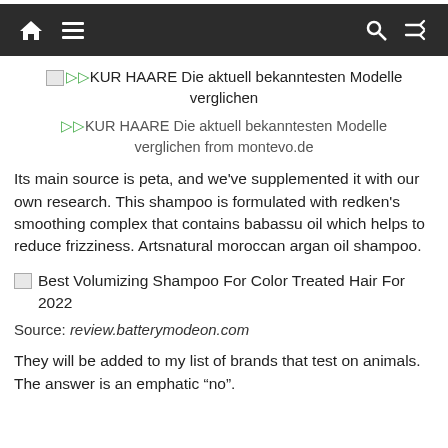[navbar with home, menu, search, shuffle icons]
▷▷KUR HAARE Die aktuell bekanntesten Modelle verglichen
▷▷KUR HAARE Die aktuell bekanntesten Modelle verglichen from montevo.de
Its main source is peta, and we've supplemented it with our own research. This shampoo is formulated with redken's smoothing complex that contains babassu oil which helps to reduce frizziness. Artsnatural moroccan argan oil shampoo.
Best Volumizing Shampoo For Color Treated Hair For 2022
Source: review.batterymodeon.com
They will be added to my list of brands that test on animals. The answer is an emphatic “no”.